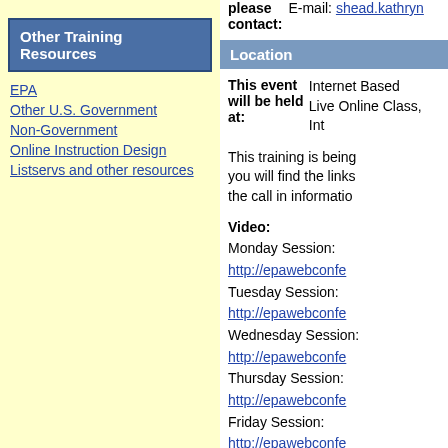Other Training Resources
EPA
Other U.S. Government
Non-Government
Online Instruction Design
Listservs and other resources
please contact: E-mail: shead.kathryn
Location
This event will be held at: Internet Based Live Online Class, Int
This training is being you will find the links the call in informatio
Video:
Monday Session:
http://epawebconfe
Tuesday Session:
http://epawebconfe
Wednesday Session:
http://epawebconfe
Thursday Session:
http://epawebconfe
Friday Session:
http://epawebconfe